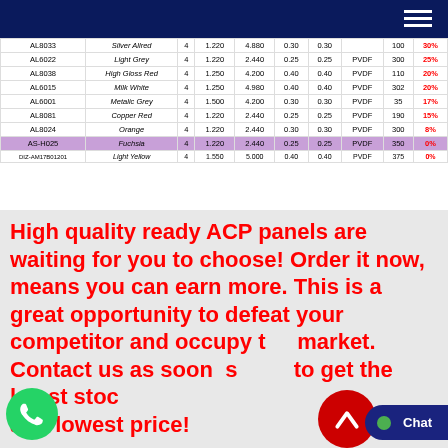| Code | Color | Thickness | Width | Length | Skin | Skin2 | Coating | Stock | Discount |
| --- | --- | --- | --- | --- | --- | --- | --- | --- | --- |
| AL8033 | Silver Allred | 4 | 1.220 | 4.880 | 0.30 | 0.30 |  | 100 | 30% |
| AL6022 | Light Grey | 4 | 1.220 | 2.440 | 0.25 | 0.25 | PVDF | 300 | 25% |
| AL8038 | High Gloss Red | 4 | 1.250 | 4.200 | 0.40 | 0.40 | PVDF | 110 | 20% |
| AL6015 | Milk White | 4 | 1.250 | 4.980 | 0.40 | 0.40 | PVDF | 302 | 20% |
| AL6001 | Metalic Grey | 4 | 1.500 | 4.200 | 0.30 | 0.30 | PVDF | 35 | 17% |
| AL8081 | Copper Red | 4 | 1.220 | 2.440 | 0.25 | 0.25 | PVDF | 190 | 15% |
| AL8024 | Orange | 4 | 1.220 | 2.440 | 0.30 | 0.30 | PVDF | 300 | 8% |
| AS-H025 | Fuchsia | 4 | 1.220 | 2.440 | 0.25 | 0.25 | PVDF | 350 | 0% |
| DIZ-AM17B01201 | Light Yellow | 4 | 1.550 | 5.000 | 0.40 | 0.40 | PVDF | 375 | 0% |
High quality ready ACP panels are waiting for you to choose! Order it now, means you can earn more. This is a great opportunity to defeat your competitor and occupy the market. Contact us as soon as possible to get the latest stock and lowest price!